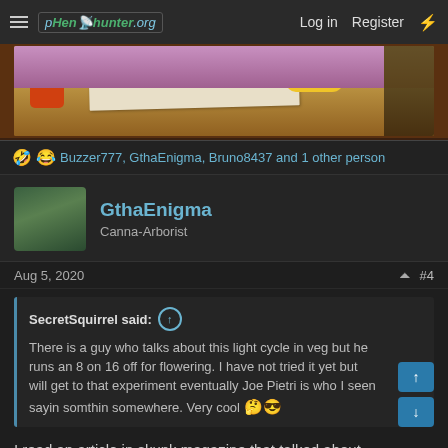pHen0hunter.org — Log in  Register
[Figure (screenshot): Animated cartoon image showing a desk scene with pencil cup, paper, and a yellow gloved hand, cropped from a Simpsons-like cartoon.]
🤣😂 Buzzer777, GthaEnigma, Bruno8437 and 1 other person
GthaEnigma
Canna-Arborist
Aug 5, 2020  #4
SecretSquirrel said: ↑

There is a guy who talks about this light cycle in veg but he runs an 8 on 16 off for flowering. I have not tried it yet but will get to that experiment eventually Joe Pietri is who I seen sayin somthin somewhere. Very cool 🤔😎
I read an article in skunk magazine that talked about something